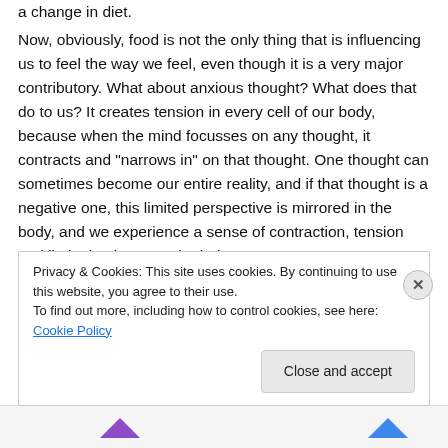a change in diet.
Now, obviously, food is not the only thing that is influencing us to feel the way we feel, even though it is a very major contributory. What about anxious thought? What does that do to us? It creates tension in every cell of our body, because when the mind focusses on any thought, it contracts and "narrows in" on that thought. One thought can sometimes become our entire reality, and if that thought is a negative one, this limited perspective is mirrored in the body, and we experience a sense of contraction, tension and limitation in our entire being.
Privacy & Cookies: This site uses cookies. By continuing to use this website, you agree to their use.
To find out more, including how to control cookies, see here: Cookie Policy
Close and accept